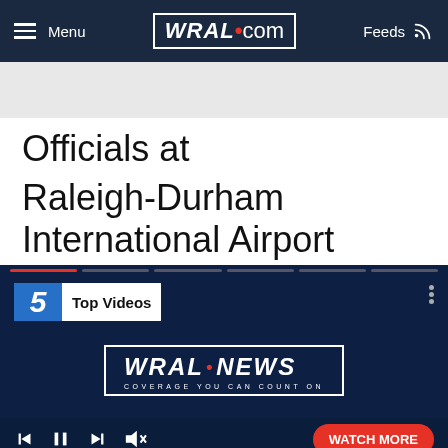Menu | WRAL.com | Feeds
[Figure (screenshot): Gray advertisement banner area]
Officials at
Raleigh-Durham International Airport
[Figure (screenshot): WRAL-TV Channel 5 Top Videos video player with WRAL News logo, progress bar, playback controls and Watch More button]